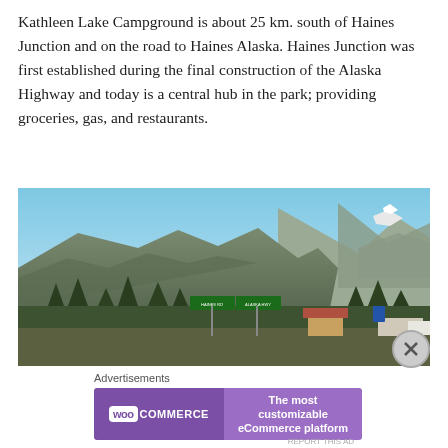Kathleen Lake Campground is about 25 km. south of Haines Junction and on the road to Haines Alaska. Haines Junction was first established during the final construction of the Alaska Highway and today is a central hub in the park; providing groceries, gas, and restaurants.
[Figure (photo): Outdoor photograph of Haines Junction area showing mountains with snow caps under a clear blue sky, with green highway signs, trees, and buildings visible in the foreground.]
Advertisements
[Figure (other): WooCommerce advertisement banner with purple background. Left side shows WooCommerce logo (white box with purple text 'woo' and white 'COMMERCE' text). Right side reads 'The most customizable eCommerce platform'.]